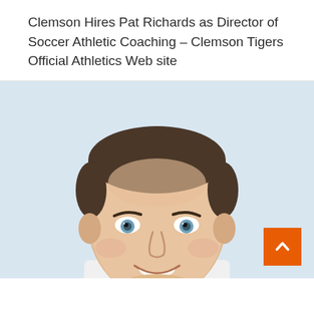Clemson Hires Pat Richards as Director of Soccer Athletic Coaching – Clemson Tigers Official Athletics Web site
[Figure (photo): Headshot photo of Pat Richards, a man with short dark hair and blue eyes, smiling, against a light blue-grey background. An orange scroll-to-top button with an upward chevron is overlaid at the bottom right corner.]